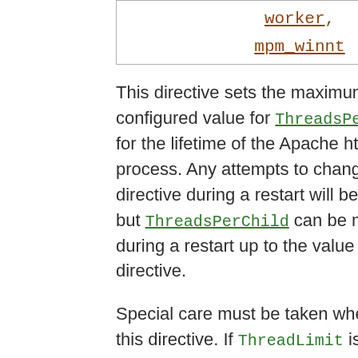[Figure (other): Box containing code links: worker, mpm_winnt]
This directive sets the maximum configured value for ThreadsPerChild for the lifetime of the Apache httpd process. Any attempts to change this directive during a restart will be ignored, but ThreadsPerChild can be modified during a restart up to the value of this directive.
Special care must be taken when using this directive. If ThreadLimit is set to a value much higher than ThreadsPerChild, extra unused shared memory will be allocated.